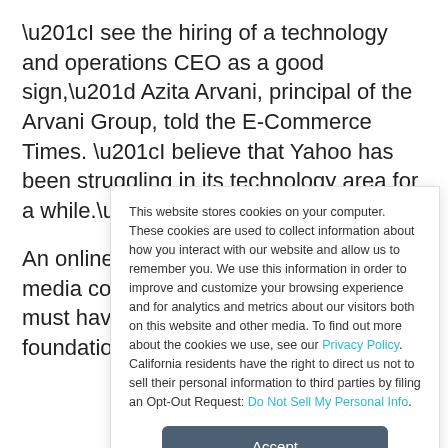“I see the hiring of a technology and operations CEO as a good sign,” Azita Arvani, principal of the Arvani Group, told the E-Commerce Times. “I believe that Yahoo has been struggling in its technology area for a while.”

An online media company — “any media company, for that matter” — must have a strong technology foundation, she
This website stores cookies on your computer. These cookies are used to collect information about how you interact with our website and allow us to remember you. We use this information in order to improve and customize your browsing experience and for analytics and metrics about our visitors both on this website and other media. To find out more about the cookies we use, see our Privacy Policy. California residents have the right to direct us not to sell their personal information to third parties by filing an Opt-Out Request: Do Not Sell My Personal Info.
Accept